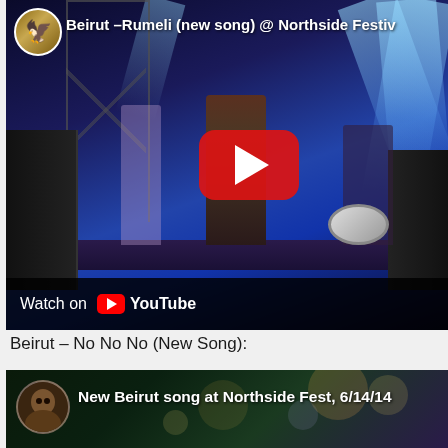[Figure (screenshot): YouTube video thumbnail showing Beirut performing Rumeli (new song) at Northside Festival. Stage with blue lighting, performer singing into mic center stage, violinist on left, drummer on right. Red YouTube play button overlay. Channel avatar top-left. 'Watch on YouTube' bar at bottom.]
Beirut – No No No (New Song):
[Figure (screenshot): YouTube video thumbnail showing 'New Beirut song at Northside Fest, 6/14/14' with a female channel avatar on the left and bokeh lights in the background.]